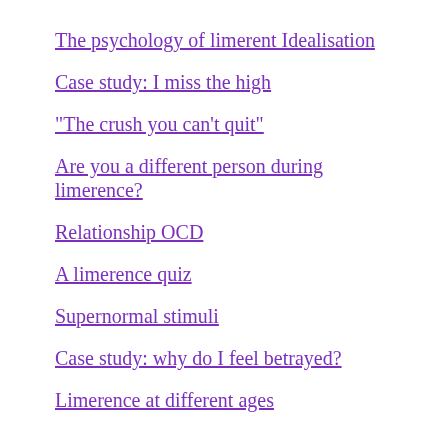The psychology of limerent Idealisation
Case study: I miss the high
“The crush you can’t quit”
Are you a different person during limerence?
Relationship OCD
A limerence quiz
Supernormal stimuli
Case study: why do I feel betrayed?
Limerence at different ages